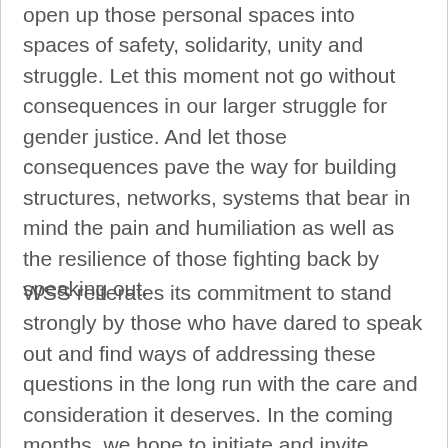open up those personal spaces into spaces of safety, solidarity, unity and struggle. Let this moment not go without consequences in our larger struggle for gender justice. And let those consequences pave the way for building structures, networks, systems that bear in mind the pain and humiliation as well as the resilience of those fighting back by speaking out.
WSS reiterates its commitment to stand strongly by those who have dared to speak out and find ways of addressing these questions in the long run with the care and consideration it deserves. In the coming months, we hope to initiate and invite conversations across university and other spaces, understand forms of violence that have not yet come out in the